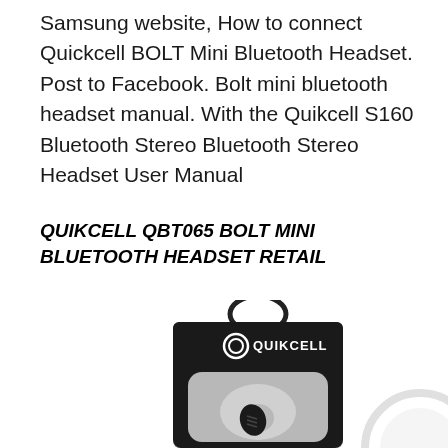Samsung website, How to connect Quickcell BOLT Mini Bluetooth Headset. Post to Facebook. Bolt mini bluetooth headset manual. With the Quikcell S160 Bluetooth Stereo Bluetooth Stereo Headset User Manual
QUIKCELL QBT065 BOLT MINI BLUETOOTH HEADSET RETAIL
[Figure (photo): Product retail packaging for Quikcell QBT065 Bolt Mini Bluetooth Headset. A black card-backed package with a hanging loop at the top, showing the Quikcell logo and brand name in white on a black background, with a clear window displaying the small black bluetooth earpiece on a grey ear-shaped mount. Partially visible white circular product at the bottom right.]